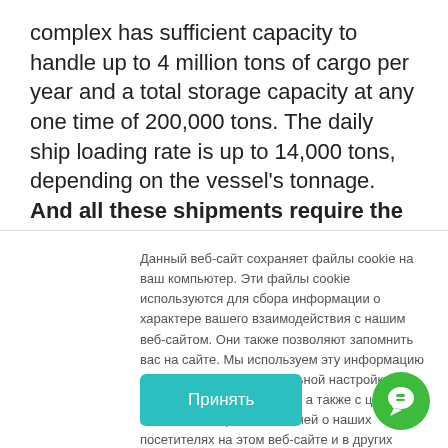complex has sufficient capacity to handle up to 4 million tons of cargo per year and a total storage capacity at any one time of 200,000 tons. The daily ship loading rate is up to 14,000 tons, depending on the vessel's tonnage. And all these shipments require the highest level of security. Heads of sea and river transport
Данный веб-сайт сохраняет файлы cookie на ваш компьютер. Эти файлы cookie используются для сбора информации о характере вашего взаимодействия с нашим веб-сайтом. Они также позволяют запомнить вас на сайте. Мы используем эту информацию для улучшения и специальной настройки вашей навигации по сайту, а также с целью анализа и сбора показателей о наших посетителях на этом веб-сайте и в других средах. Чтобы узнать больше о том, какие файлы cookie мы используем, ознакомьтесь с нашей Политикой конфиденциальности